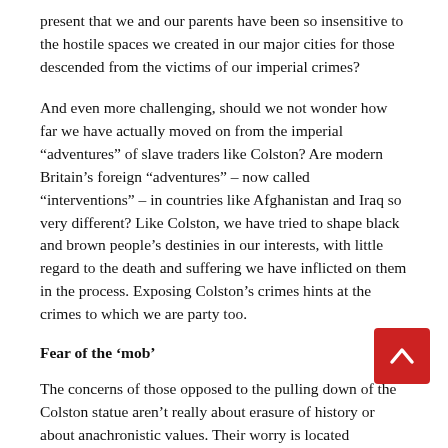present that we and our parents have been so insensitive to the hostile spaces we created in our major cities for those descended from the victims of our imperial crimes?
And even more challenging, should we not wonder how far we have actually moved on from the imperial “adventures” of slave traders like Colston? Are modern Britain’s foreign “adventures” – now called “interventions” – in countries like Afghanistan and Iraq so very different? Like Colston, we have tried to shape black and brown people’s destinies in our interests, with little regard to the death and suffering we have inflicted on them in the process. Exposing Colston’s crimes hints at the crimes to which we are party too.
Fear of the ‘mob’
The concerns of those opposed to the pulling down of the Colston statue aren’t really about erasure of history or about anachronistic values. Their worry is located elsewhere.
For some it is the sense that a part of our collective nostalgia